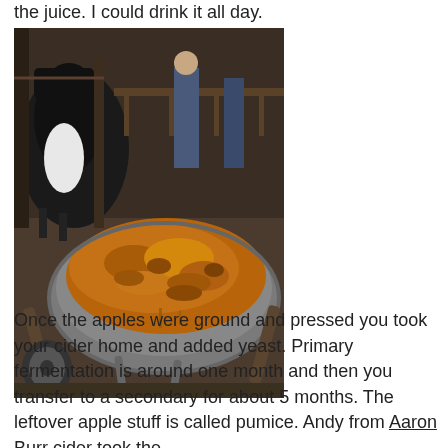the juice. I could drink it all day.
[Figure (photo): Photo of crushed apple pulp (pomace) in a metal wheelbarrow, with a cow visible in the background in what appears to be a farm or cider press setting.]
Once the apples were ground and pressed you took your cider home and added yeast. Primary fermentation is around one month and then you transfer to a secondary for about 5 months. The leftover apple stuff is called pumice. Andy from Aaron Burr cider took the pumice home to feed his goat. Earlier the